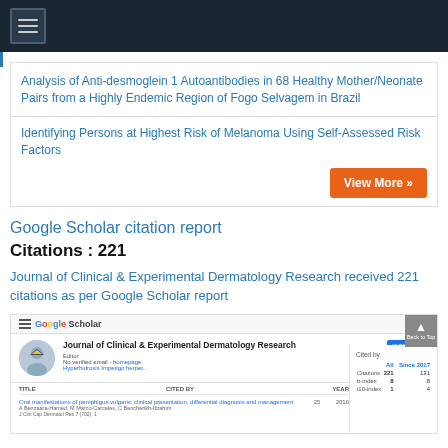Analysis of Anti-desmoglein 1 Autoantibodies in 68 Healthy Mother/Neonate Pairs from a Highly Endemic Region of Fogo Selvagem in Brazil
Identifying Persons at Highest Risk of Melanoma Using Self-Assessed Risk Factors
Google Scholar citation report
Citations : 221
Journal of Clinical & Experimental Dermatology Research received 221 citations as per Google Scholar report
[Figure (screenshot): Google Scholar profile screenshot for Journal of Clinical & Experimental Dermatology Research showing citation statistics: Citations 221, h-index 8, i10-index 1]